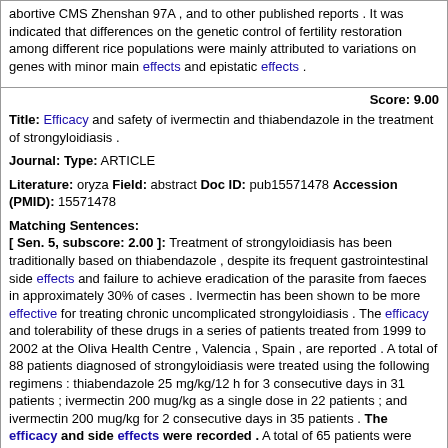abortive CMS Zhenshan 97A , and to other published reports . It was indicated that differences on the genetic control of fertility restoration among different rice populations were mainly attributed to variations on genes with minor main effects and epistatic effects .
Score: 9.00
Title: Efficacy and safety of ivermectin and thiabendazole in the treatment of strongyloidiasis .
Journal: Type: ARTICLE
Literature: oryza Field: abstract Doc ID: pub15571478 Accession (PMID): 15571478
Matching Sentences:
[ Sen. 5, subscore: 2.00 ]: Treatment of strongyloidiasis has been traditionally based on thiabendazole , despite its frequent gastrointestinal side effects and failure to achieve eradication of the parasite from faeces in approximately 30% of cases . Ivermectin has been shown to be more effective for treating chronic uncomplicated strongyloidiasis . The efficacy and tolerability of these drugs in a series of patients treated from 1999 to 2002 at the Oliva Health Centre , Valencia , Spain , are reported . A total of 88 patients diagnosed of strongyloidiasis were treated using the following regimens : thiabendazole 25 mg/kg/12 h for 3 consecutive days in 31 patients ; ivermectin 200 mug/kg as a single dose in 22 patients ; and ivermectin 200 mug/kg for 2 consecutive days in 35 patients . The efficacy and side effects were recorded . A total of 65 patients were male , and 23 female . The mean age was 64 +/- 12 years . Of the patients , 44 had worked barefoot in rice fields . Among the 31 patients treated with thiabendazole , 25 ( 78% ) met the criteria for cure ( the absence of parasite in faeces after examination of three samples collected on alternate days ) , and 5 ( 16% ) experienced side effects (